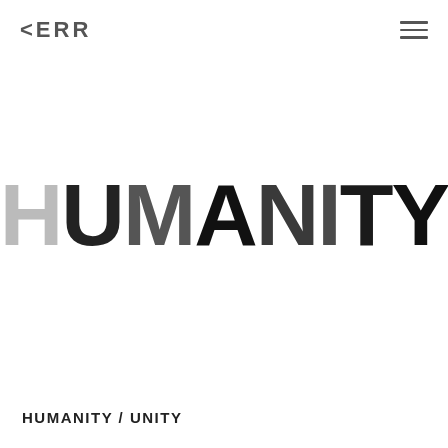KERR
[Figure (illustration): The word HUMANITY rendered in large bold type with a gradient of grays — H in light gray, U in dark/black, M in medium-dark, A in black, N in dark charcoal, I in dark gray, T in near-black, Y in darkest black — creating a visual gradient effect spelling out the word HUMANITY with the letters transitioning from light to dark.]
HUMANITY / UNITY